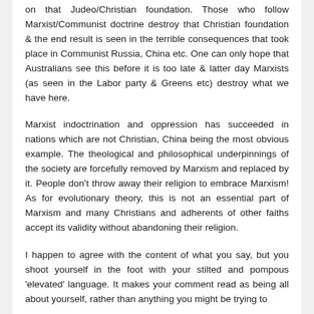on that Judeo/Christian foundation. Those who follow Marxist/Communist doctrine destroy that Christian foundation & the end result is seen in the terrible consequences that took place in Communist Russia, China etc. One can only hope that Australians see this before it is too late & latter day Marxists (as seen in the Labor party & Greens etc) destroy what we have here.
Marxist indoctrination and oppression has succeeded in nations which are not Christian, China being the most obvious example. The theological and philosophical underpinnings of the society are forcefully removed by Marxism and replaced by it. People don't throw away their religion to embrace Marxism! As for evolutionary theory, this is not an essential part of Marxism and many Christians and adherents of other faiths accept its validity without abandoning their religion.
I happen to agree with the content of what you say, but you shoot yourself in the foot with your stilted and pompous 'elevated' language. It makes your comment read as being all about yourself, rather than anything you might be trying to